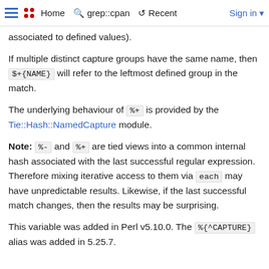Home  grep::cpan  Recent  Sign in
associated to defined values).
If multiple distinct capture groups have the same name, then $+{NAME} will refer to the leftmost defined group in the match.
The underlying behaviour of %+ is provided by the Tie::Hash::NamedCapture module.
Note: %- and %+ are tied views into a common internal hash associated with the last successful regular expression. Therefore mixing iterative access to them via each may have unpredictable results. Likewise, if the last successful match changes, then the results may be surprising.
This variable was added in Perl v5.10.0. The %{^CAPTURE} alias was added in 5.25.7.